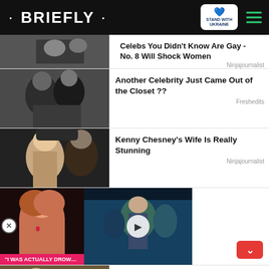• BRIEFLY •
[Figure (screenshot): Two men kissing thumbnail]
Celebs You Didn't Know Are Gay - No. 8 Will Shock Women
Ninjajournalist
[Figure (screenshot): Two women kissing black and white thumbnail]
Another Celebrity Just Came Out of the Closet ??
Freshedits
[Figure (screenshot): Blonde woman and man in hat thumbnail]
Kenny Chesney's Wife Is Really Stunning
Ninjajournalist
[Figure (screenshot): Video thumbnail with woman dancing and red-haired woman. Label: I WAS ACTUALLY DROWNING]
Stand With Ukraine
Donate to save the lives of millions of children